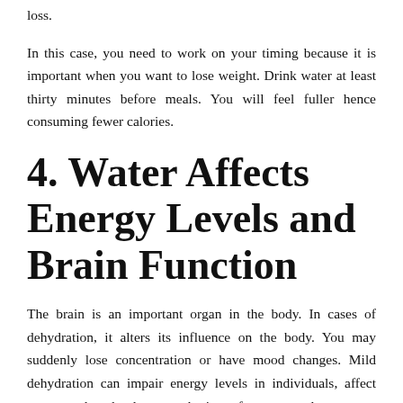loss.
In this case, you need to work on your timing because it is important when you want to lose weight. Drink water at least thirty minutes before meals. You will feel fuller hence consuming fewer calories.
4. Water Affects Energy Levels and Brain Function
The brain is an important organ in the body. In cases of dehydration, it alters its influence on the body. You may suddenly lose concentration or have mood changes. Mild dehydration can impair energy levels in individuals, affect your mood, and reduce your brain performance and memory.